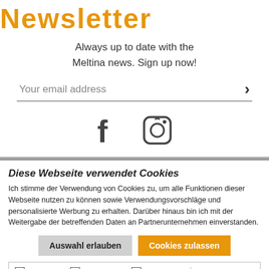Newsletter
Always up to date with the Meltina news. Sign up now!
Your email address
[Figure (other): Facebook and Instagram social media icons]
Diese Webseite verwendet Cookies
Ich stimme der Verwendung von Cookies zu, um alle Funktionen dieser Webseite nutzen zu können sowie Verwendungsvorschläge und personalisierte Werbung zu erhalten. Darüber hinaus bin ich mit der Weitergabe der betreffenden Daten an Partnerunternehmen einverstanden.
Auswahl erlauben | Cookies zulassen
Notwendig | Präferenzen | Statistiken | Marketing | Einstellungen